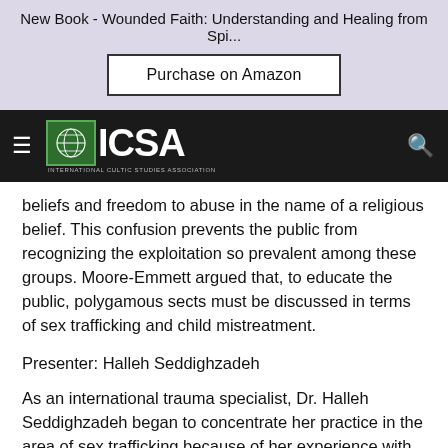New Book - Wounded Faith: Understanding and Healing from Spi...
[Figure (other): Purchase on Amazon button on lavender/purple background]
[Figure (logo): ICSA International Cultic Studies Association navigation bar with hamburger menu, logo, and search icon]
beliefs and freedom to abuse in the name of a religious belief. This confusion prevents the public from recognizing the exploitation so prevalent among these groups. Moore-Emmett argued that, to educate the public, polygamous sects must be discussed in terms of sex trafficking and child mistreatment.
Presenter: Halleh Seddighzadeh
As an international trauma specialist, Dr. Halleh Seddighzadeh began to concentrate her practice in the area of sex trafficking because of her experience with war conflict trauma and human-rights abuses. Dr. Seddighzadeh